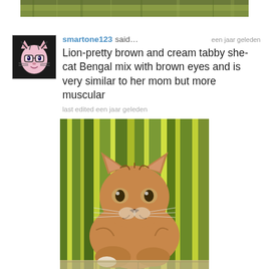[Figure (photo): Partial photo at top of page showing outdoor greenery/vegetation scene]
[Figure (photo): Avatar/profile image of smartone123 - cartoon cat character with black and white stripes]
smartone123 said…
een jaar geleden
Lion-pretty brown and cream tabby she-cat Bengal mix with brown eyes and is very similar to her mom but more muscular
last edited een jaar geleden
[Figure (photo): Photo of a brown/golden tabby cat with large ears lying down against a background of green and yellow leafy plants, looking directly at camera]